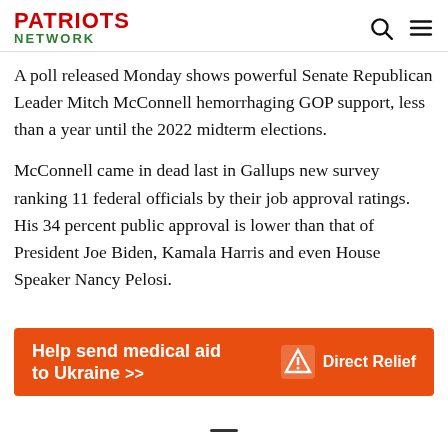PATRIOTS NETWORK
A poll released Monday shows powerful Senate Republican Leader Mitch McConnell hemorrhaging GOP support, less than a year until the 2022 midterm elections.
McConnell came in dead last in Gallups new survey ranking 11 federal officials by their job approval ratings. His 34 percent public approval is lower than that of President Joe Biden, Kamala Harris and even House Speaker Nancy Pelosi.
But while the three top Democrats in government found
[Figure (infographic): Orange advertisement banner: 'Help send medical aid to Ukraine >>' with Direct Relief logo on the right side]